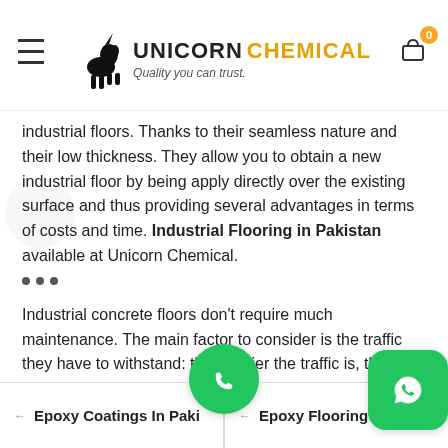Unicorn Chemical — Quality you can trust.
industrial floors. Thanks to their seamless nature and their low thickness. They allow you to obtain a new industrial floor by being apply directly over the existing surface and thus providing several advantages in terms of costs and time. Industrial Flooring in Pakistan available at Unicorn Chemical.
Industrial concrete floors don't require much maintenance. The main factor to consider is the traffic they have to withstand: the heavier the traffic is, the more frequent the cleaning for maintenance should be done. For low-traffic zones, after the first treatment for industrial floors, washing the floor once a week and applying for protection every 8-12 months will be enough. For high-traffic zones, the cleaning is recommend at least 4 times a week and the protective treatment every 3-6 months.
Epoxy Coatings In Pakistan   Epoxy Flooring